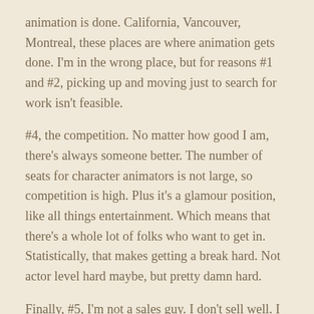animation is done. California, Vancouver, Montreal, these places are where animation gets done. I'm in the wrong place, but for reasons #1 and #2, picking up and moving just to search for work isn't feasible.
#4, the competition. No matter how good I am, there's always someone better. The number of seats for character animators is not large, so competition is high. Plus it's a glamour position, like all things entertainment. Which means that there's a whole lot of folks who want to get in. Statistically, that makes getting a break hard. Not actor level hard maybe, but pretty damn hard.
Finally, #5, I'm not a sales guy. I don't sell well. I